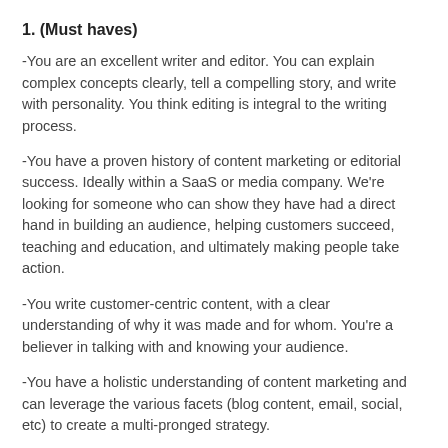1. (Must haves)
-You are an excellent writer and editor. You can explain complex concepts clearly, tell a compelling story, and write with personality. You think editing is integral to the writing process.
-You have a proven history of content marketing or editorial success. Ideally within a SaaS or media company. We're looking for someone who can show they have had a direct hand in building an audience, helping customers succeed, teaching and education, and ultimately making people take action.
-You write customer-centric content, with a clear understanding of why it was made and for whom. You're a believer in talking with and knowing your audience.
-You have a holistic understanding of content marketing and can leverage the various facets (blog content, email, social, etc) to create a multi-pronged strategy.